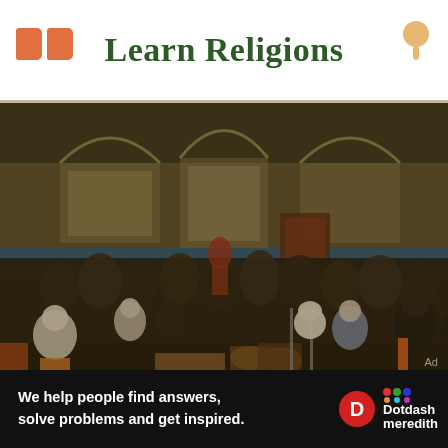Learn Religions
[Figure (photo): Large group of Sikh men seated on the floor inside a gurdwara courtyard at night, with musicians playing tabla and harmonium in the foreground, and a large crowd gathered in the background beneath arched architectural details.]
Ad
We help people find answers, solve problems and get inspired. Dotdash meredith